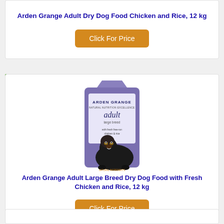Arden Grange Adult Dry Dog Food Chicken and Rice, 12 kg
Click For Price
2
[Figure (photo): Purple bag of Arden Grange Adult Large Breed dry dog food with a Rottweiler dog on the packaging]
Arden Grange Adult Large Breed Dry Dog Food with Fresh Chicken and Rice, 12 kg
Click For Price